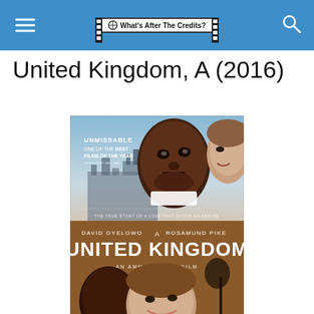What's After The Credits?
United Kingdom, A (2016)
[Figure (photo): Movie poster for 'A United Kingdom' (2016) featuring David Oyelowo and Rosamund Pike. Text on poster reads: UNMISSABLE ONE OF THE BEST FILMS OF THE YEAR, THE TRUE STORY OF A LOVE THAT SHOOK AN EMPIRE, DAVID OYELOWO A ROSAMUND PIKE, UNITED KINGDOM, AN AMMA ASANTE FILM]